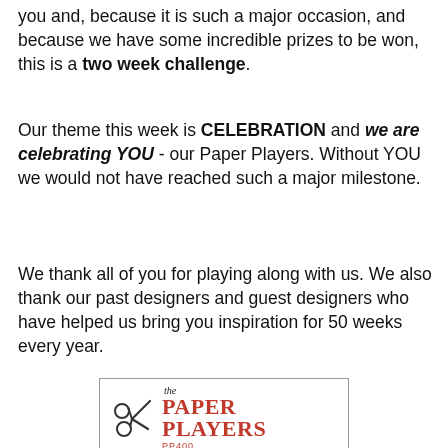you and, because it is such a major occasion, and because we have some incredible prizes to be won, this is a two week challenge.
Our theme this week is CELEBRATION and we are celebrating YOU - our Paper Players.  Without YOU we would not have reached such a major milestone.
We thank all of you for playing along with us.  We also thank our past designers and guest designers who have helped us bring you inspiration for 50 weeks every year.
[Figure (illustration): The Paper Players PP400 challenge card with scissors logo, teal/mint theme area showing 'Theme Challenge: PP400 Celebration - birthday, anniversary, etc.' and a photo of colorful balloons at the bottom.]